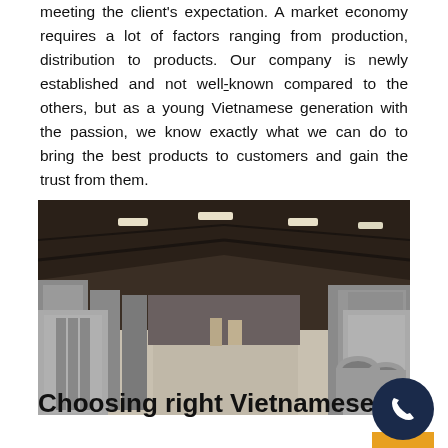meeting the client's expectation. A market economy requires a lot of factors ranging from production, distribution to products. Our company is newly established and not well-known compared to the others, but as a young Vietnamese generation with the passion, we know exactly what we can do to bring the best products to customers and gain the trust from them.
[Figure (photo): Interior of a large warehouse or factory showing stacks of stone/concrete slabs and round concrete rings arranged in rows on a wide floor under a corrugated metal roof with overhead lighting.]
Choosing right Vietnamese